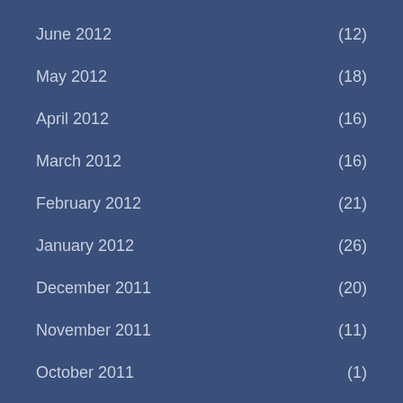June 2012 (12)
May 2012 (18)
April 2012 (16)
March 2012 (16)
February 2012 (21)
January 2012 (26)
December 2011 (20)
November 2011 (11)
October 2011 (1)